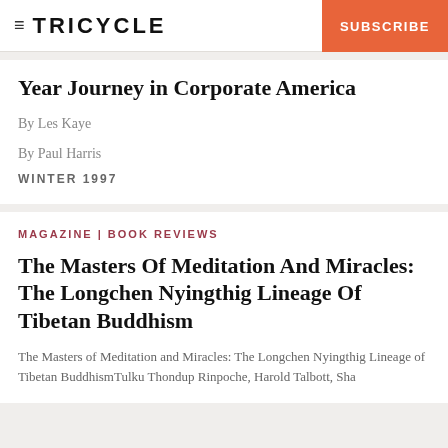≡ TRICYCLE   🔍   SUBSCRIBE
Year Journey in Corporate America
By Les Kaye
By Paul Harris
WINTER 1997
MAGAZINE | BOOK REVIEWS
The Masters Of Meditation And Miracles: The Longchen Nyingthig Lineage Of Tibetan Buddhism
The Masters of Meditation and Miracles: The Longchen Nyingthig Lineage of Tibetan BuddhismTulku Thondup Rinpoche, Harold Talbott, Shambhala Publications